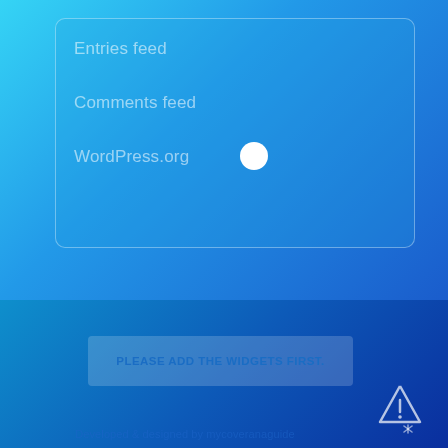Entries feed
Comments feed
WordPress.org
PLEASE ADD THE WIDGETS FIRST.
Developed & designed by mycoveranaguide